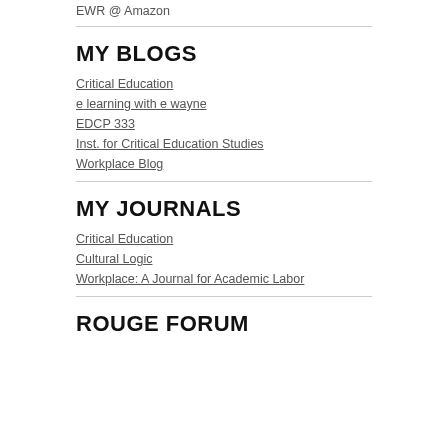EWR @ Amazon
MY BLOGS
Critical Education
e learning with e wayne
EDCP 333
Inst. for Critical Education Studies
Workplace Blog
MY JOURNALS
Critical Education
Cultural Logic
Workplace: A Journal for Academic Labor
ROUGE FORUM